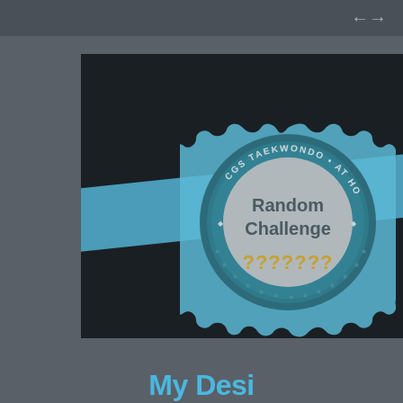[Figure (illustration): A badge/seal graphic on a dark background with a blue diagonal ribbon/banner. The circular badge reads 'CGS TAEKWONDO • AT HOME' around the top arc, with 'Random Challenge' in the center and '???????' in gold/orange text at the bottom of the inner circle. The badge has a scalloped/gear-shaped outer edge in light blue with decorative stars.]
My Desi...